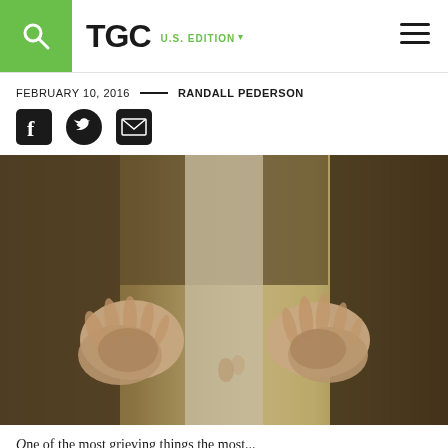TGC U.S. EDITION
FEBRUARY 10, 2016 — RANDALL PEDERSON
[Figure (illustration): Social share icons: Facebook, Twitter, Email]
[Figure (photo): A figure in robes with both hands outstretched, palms up, in a field — representing Jesus or a biblical figure.]
One of the most grieving things the most...